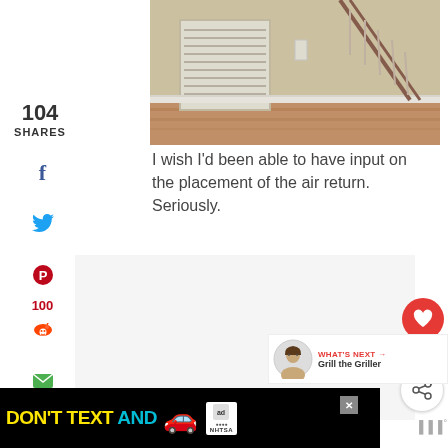[Figure (photo): Indoor photo showing an air return vent on a wall near a staircase with wood flooring]
104
SHARES
[Figure (infographic): Social sharing sidebar with Facebook, Twitter, Pinterest (100), Reddit, Email, and Print icons]
I wish I'd been able to have input on the placement of the air return. Seriously.
[Figure (infographic): Floating action buttons: heart/like (red circle), count 111, share+ (white circle)]
[Figure (infographic): What's Next promo: avatar illustration and text 'WHAT'S NEXT → Grill the Griller']
[Figure (infographic): Ad banner: DON'T TEXT AND [car emoji] with NHTSA logo and close button]